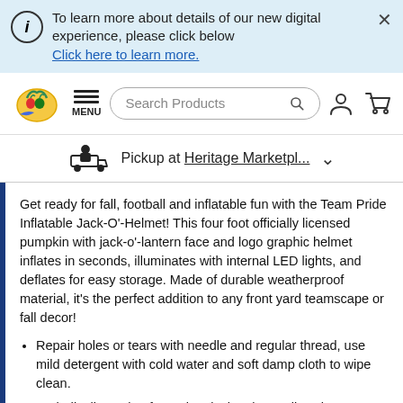To learn more about details of our new digital experience, please click below
Click here to learn more.
[Figure (screenshot): Navigation bar with grocery store logo, hamburger menu labeled MENU, search products box, user icon, and cart icon]
Pickup at Heritage Marketpl...
Get ready for fall, football and inflatable fun with the Team Pride Inflatable Jack-O'-Helmet! This four foot officially licensed pumpkin with jack-o'-lantern face and logo graphic helmet inflates in seconds, illuminates with internal LED lights, and deflates for easy storage. Made of durable weatherproof material, it's the perfect addition to any front yard teamscape or fall decor!
Repair holes or tears with needle and regular thread, use mild detergent with cold water and soft damp cloth to wipe clean.
Periodically unplug from electrical outlet to allow the transformer and fan to cool down to avoid overheating and/or product damage.
Neatly fold and store in cool, dry location away